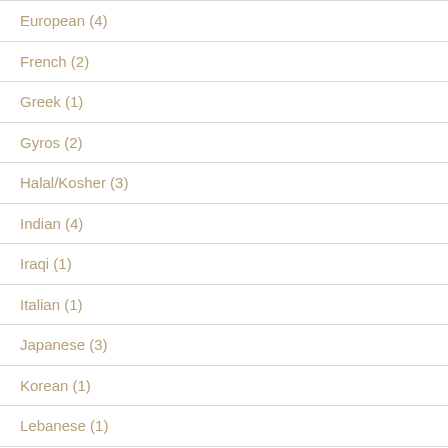European (4)
French (2)
Greek (1)
Gyros (2)
Halal/Kosher (3)
Indian (4)
Iraqi (1)
Italian (1)
Japanese (3)
Korean (1)
Lebanese (1)
Mediterranean (5)